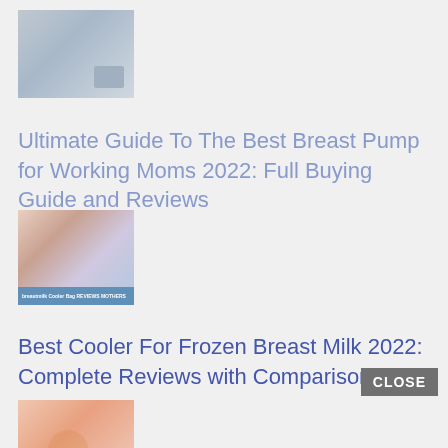[Figure (photo): Thumbnail image of a person working on a laptop, muted blue-gray tones]
Ultimate Guide To The Best Breast Pump for Working Moms 2022: Full Buying Guide and Reviews
[Figure (photo): Thumbnail image showing breast milk cooler bag with blue banner text at bottom]
Best Cooler For Frozen Breast Milk 2022: Complete Reviews with Comparison
[Figure (photo): Thumbnail image of a baby's hand with a sippy cup or feeding item in pink/orange tones]
Best Sippy Cup for Breastfed Baby 2022: Buying Guide and Reviews